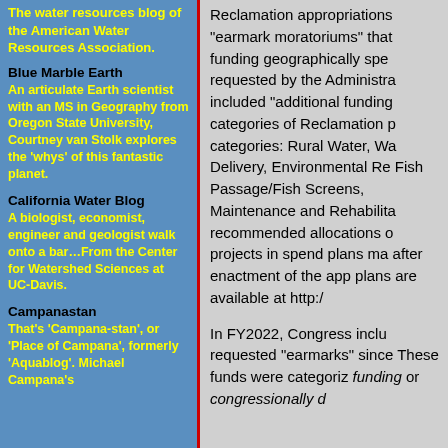The water resources blog of the American Water Resources Association.
Blue Marble Earth
An articulate Earth scientist with an MS in Geography from Oregon State University, Courtney van Stolk explores the 'whys' of this fantastic planet.
California Water Blog
A biologist, economist, engineer and geologist walk onto a bar…From the Center for Watershed Sciences at UC-Davis.
Campanastan
That's 'Campana-stan', or 'Place of Campana', formerly 'Aquablog'. Michael Campana's
Reclamation appropriations "earmark moratoriums" that funding geographically spe requested by the Administra included "additional funding categories of Reclamation p categories: Rural Water, Wa Delivery, Environmental Re Fish Passage/Fish Screens, Maintenance and Rehabilita recommended allocations o projects in spend plans ma after enactment of the app plans are available at http:/
In FY2022, Congress inclu requested "earmarks" since These funds were categoriz funding or congressionally a